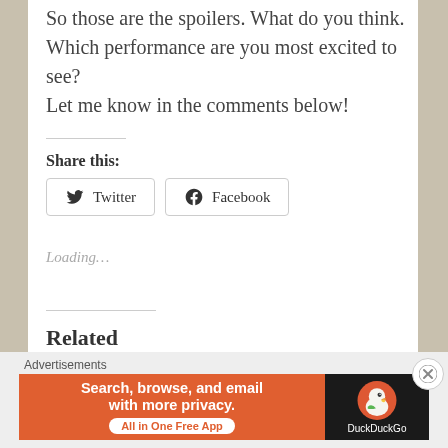So those are the spoilers. What do you think. Which performance are you most excited to see? Let me know in the comments below!
Share this:
Twitter  Facebook
Loading…
Related
Advertisements
[Figure (screenshot): DuckDuckGo advertisement banner: Search, browse, and email with more privacy. All in One Free App. Shows DuckDuckGo logo on dark background.]